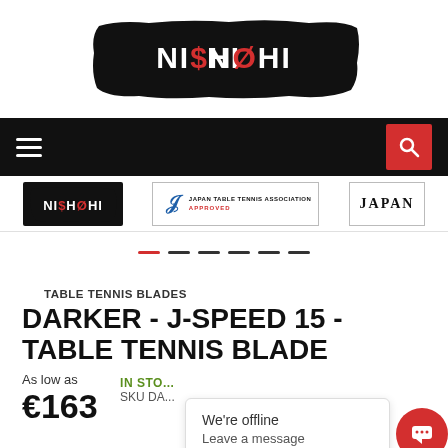[Figure (logo): Nishohi brand logo in white text on black brushstroke background]
[Figure (infographic): Black navigation bar with hamburger menu on left and red search button on right]
[Figure (logo): Brand bar showing Nishohi small logo, JTTA Japan Table Tennis Association Approved badge, and Japan text]
[Figure (infographic): Carousel indicator dots, first dot red (active), remaining dots dark]
TABLE TENNIS BLADES
DARKER - J-SPEED 15 - TABLE TENNIS BLADE
As low as €163
IN STO... SKU DA...
[Figure (infographic): Chat popup overlay: 'We're offline / Leave a message' with red chat button]